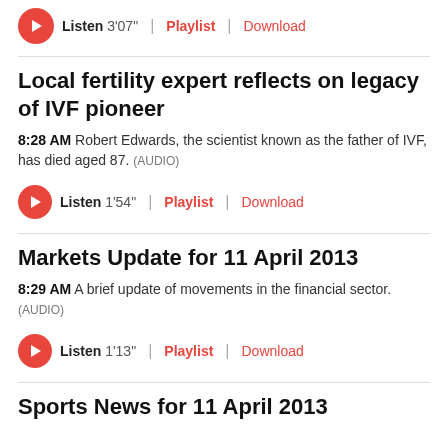Listen 3'07" | Playlist | Download
Local fertility expert reflects on legacy of IVF pioneer
8:28 AM Robert Edwards, the scientist known as the father of IVF, has died aged 87. (AUDIO)
Listen 1'54" | Playlist | Download
Markets Update for 11 April 2013
8:29 AM A brief update of movements in the financial sector. (AUDIO)
Listen 1'13" | Playlist | Download
Sports News for 11 April 2013